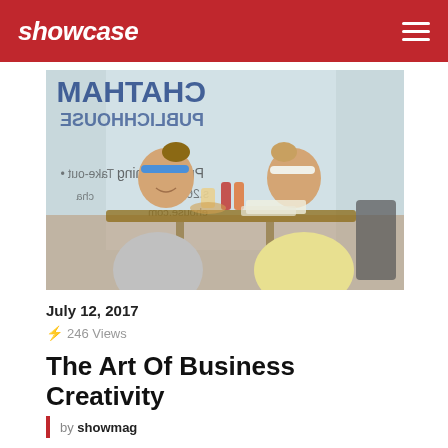showcase
[Figure (photo): Two women sitting across from each other at a cafe table, dining and conversing. The window behind them shows reversed text of 'CHATHAM PUBLICHHOUSE' with phrases 'Take-out', 'Private Dining', 'cha...' visible through the glass.]
July 12, 2017
⚡ 246 Views
The Art Of Business Creativity
by showmag